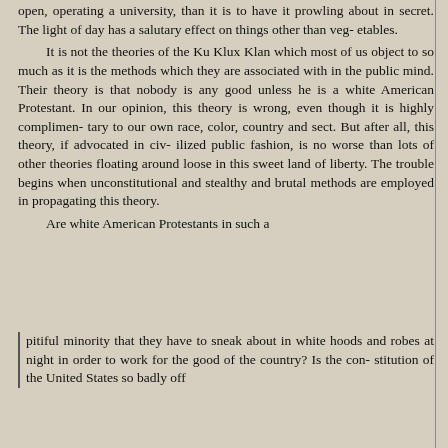open, operating a university, than it is to have it prowling about in secret. The light of day has a salutary effect on things other than vegetables.

It is not the theories of the Ku Klux Klan which most of us object to so much as it is the methods which they are associated with in the public mind. Their theory is that nobody is any good unless he is a white American Protestant. In our opinion, this theory is wrong, even though it is highly complimentary to our own race, color, country and sect. But after all, this theory, if advocated in civilized public fashion, is no worse than lots of other theories floating around loose in this sweet land of liberty. The trouble begins when unconstitutional and stealthy and brutal methods are employed in propagating this theory.

Are white American Protestants in such a pitiful minority that they have to sneak about in white hoods and robes at night in order to work for the good of the country? Is the constitution of the United States so badly off